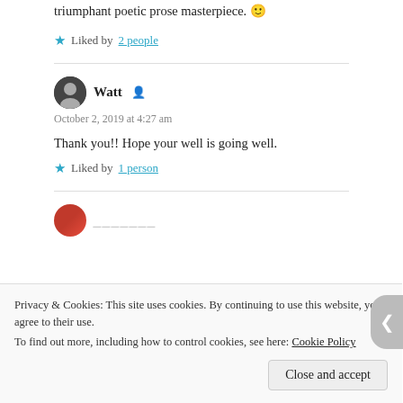triumphant poetic prose masterpiece. 🙂
★ Liked by 2 people
Watt
October 2, 2019 at 4:27 am
Thank you!! Hope your well is going well.
★ Liked by 1 person
Privacy & Cookies: This site uses cookies. By continuing to use this website, you agree to their use.
To find out more, including how to control cookies, see here: Cookie Policy